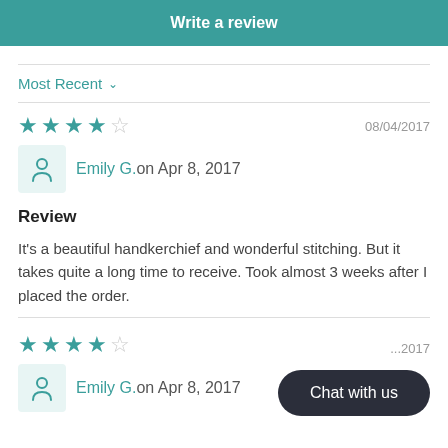Write a review
Most Recent ∨
★★★★☆  08/04/2017
Emily G.on Apr 8, 2017
Review
It's a beautiful handkerchief and wonderful stitching. But it takes quite a long time to receive. Took almost 3 weeks after I placed the order.
★★★★☆  ...2017
Emily G.on Apr 8, 2017
Chat with us